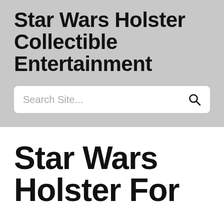Star Wars Holster Collectible Entertainment
Search Site...
Star Wars Holster For